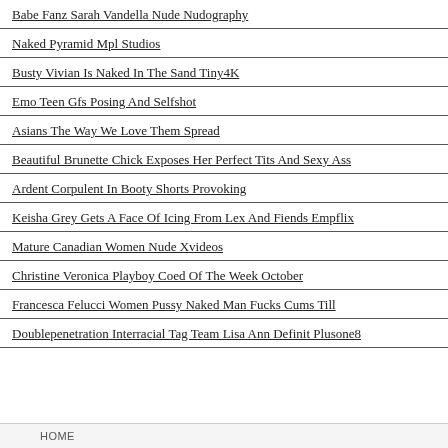Babe Fanz Sarah Vandella Nude Nudography
Naked Pyramid Mpl Studios
Busty Vivian Is Naked In The Sand Tiny4K
Emo Teen Gfs Posing And Selfshot
Asians The Way We Love Them Spread
Beautiful Brunette Chick Exposes Her Perfect Tits And Sexy Ass
Ardent Corpulent In Booty Shorts Provoking
Keisha Grey Gets A Face Of Icing From Lex And Fiends Empflix
Mature Canadian Women Nude Xvideos
Christine Veronica Playboy Coed Of The Week October
Francesca Felucci Women Pussy Naked Man Fucks Cums Till
Doublepenetration Interracial Tag Team Lisa Ann Definit Plusone8
HOME